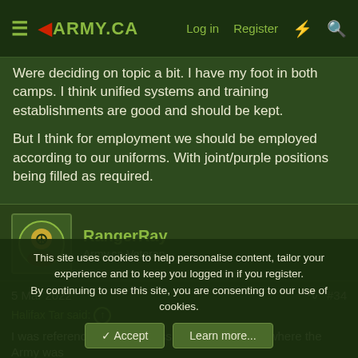◀ARMY.CA | Log in | Register
Were deciding on topic a bit. I have my foot in both camps. I think unified systems and training establishments are good and should be kept.

But I think for employment we should be employed according to our uniforms. With joint/purple positions being filled as required.
RangerRay
Army.ca Veteran
5 Mar 2022	#34
Halifax Tar said: ↑
I was referencing recent dress committee points where the Army was
This site uses cookies to help personalise content, tailor your experience and to keep you logged in if you register.
By continuing to use this site, you are consenting to our use of cookies.